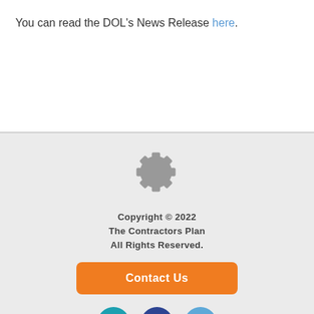You can read the DOL's News Release here.
Copyright © 2022 The Contractors Plan All Rights Reserved. [Contact Us button] [LinkedIn] [Facebook] [Twitter] [YouTube]